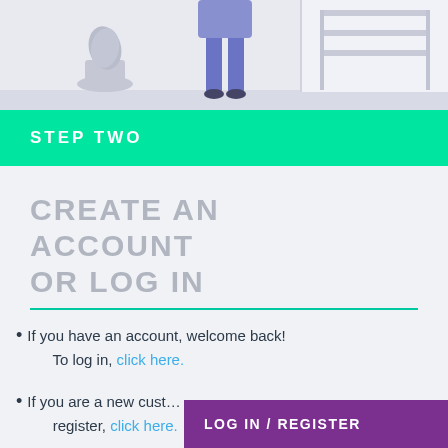[Figure (illustration): Flat design illustration showing a person's legs in blue trousers standing in an office/room with a plant and shelves in the background. Light grey color scheme.]
STEP TWO
CREATE AN ACCOUNT OR LOG IN
If you have an account, welcome back! To log in, click here.
If you are a new customer, register, click here.
[Figure (other): Purple button labeled LOG IN / REGISTER]